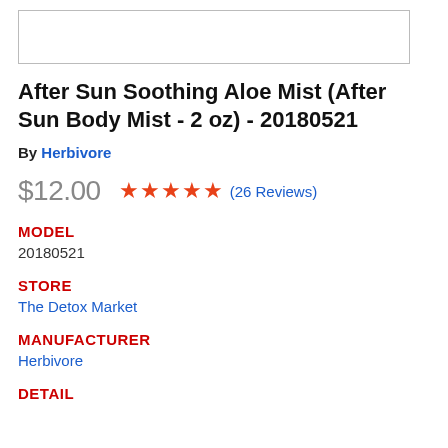[Figure (other): Product image placeholder (white box with border)]
After Sun Soothing Aloe Mist (After Sun Body Mist - 2 oz) - 20180521
By Herbivore
$12.00  ★★★★★ (26 Reviews)
MODEL
20180521
STORE
The Detox Market
MANUFACTURER
Herbivore
DETAIL